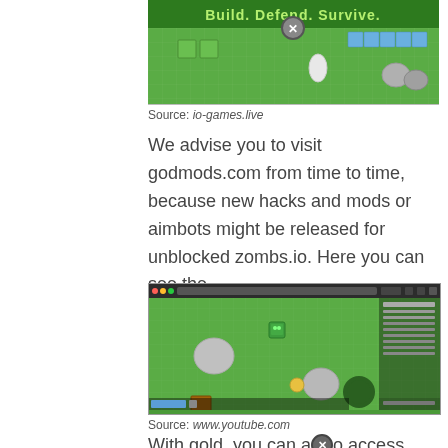[Figure (screenshot): Screenshot of zombs.io game with 'Build. Defend. Survive.' banner text and an X close button overlay on a green grid game map]
Source: io-games.live
We advise you to visit godmods.com from time to time, because new hacks and mods or aimbots might be released for unblocked zombs.io. Here you can see the.
[Figure (screenshot): Screenshot of zombs.io gameplay in a browser window showing a green grid map with game elements and a stats panel on the right side]
Source: www.youtube.com
With gold, you can also access the shop